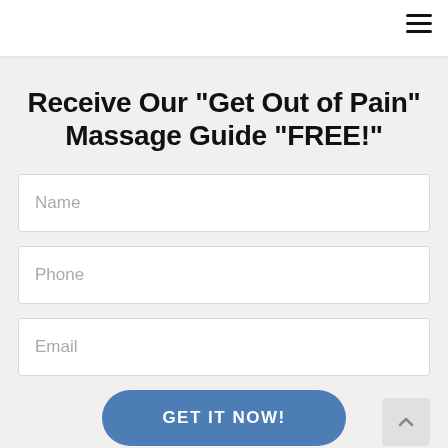Receive Our "Get Out of Pain" Massage Guide "FREE!"
Name
Phone
Email
GET IT NOW!